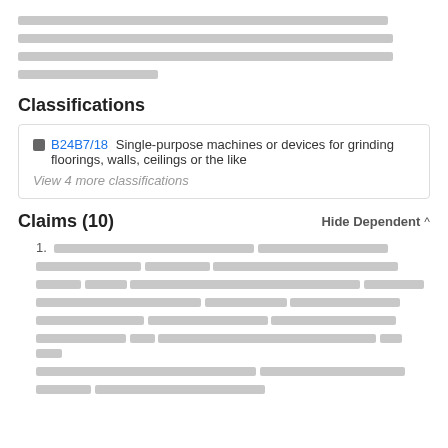[redacted text block - 4 lines of redacted content]
Classifications
B24B7/18  Single-purpose machines or devices for grinding floorings, walls, ceilings or the like
View 4 more classifications
Claims (10)
1. [redacted claim text spanning multiple lines]